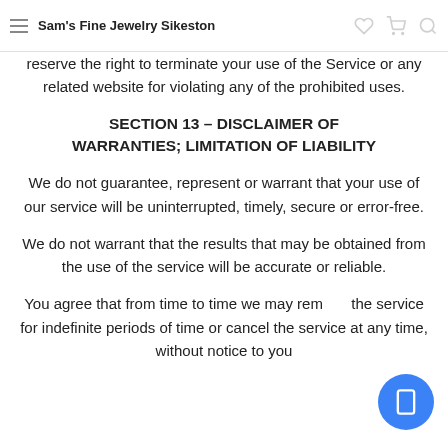Sam's Fine Jewelry Sikeston
reserve the right to terminate your use of the Service or any related website for violating any of the prohibited uses.
SECTION 13 – DISCLAIMER OF WARRANTIES; LIMITATION OF LIABILITY
We do not guarantee, represent or warrant that your use of our service will be uninterrupted, timely, secure or error-free.
We do not warrant that the results that may be obtained from the use of the service will be accurate or reliable.
You agree that from time to time we may remove the service for indefinite periods of time or cancel the service at any time, without notice to you.